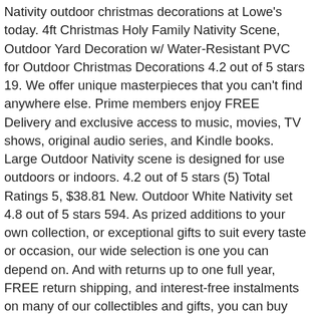Nativity outdoor christmas decorations at Lowe's today. 4ft Christmas Holy Family Nativity Scene, Outdoor Yard Decoration w/ Water-Resistant PVC for Outdoor Christmas Decorations 4.2 out of 5 stars 19. We offer unique masterpieces that you can't find anywhere else. Prime members enjoy FREE Delivery and exclusive access to music, movies, TV shows, original audio series, and Kindle books. Large Outdoor Nativity scene is designed for use outdoors or indoors. 4.2 out of 5 stars (5) Total Ratings 5, $38.81 New. Outdoor White Nativity set 4.8 out of 5 stars 594. As prized additions to your own collection, or exceptional gifts to suit every taste or occasion, our wide selection is one you can depend on. And with returns up to one full year, FREE return shipping, and interest-free instalments on many of our collectibles and gifts, you can buy and give with confidence 24 hours a day. Just check out our officially-licensed NHL® products, including men's hockey team rings and watches, NHL® hockey trains, replica hockey sticks and more. Contact